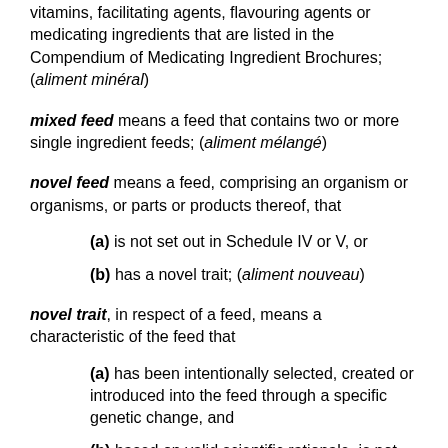vitamins, facilitating agents, flavouring agents or medicating ingredients that are listed in the Compendium of Medicating Ingredient Brochures; (aliment minéral)
mixed feed means a feed that contains two or more single ingredient feeds; (aliment mélangé)
novel feed means a feed, comprising an organism or organisms, or parts or products thereof, that
(a) is not set out in Schedule IV or V, or
(b) has a novel trait; (aliment nouveau)
novel trait, in respect of a feed, means a characteristic of the feed that
(a) has been intentionally selected, created or introduced into the feed through a specific genetic change, and
(b) based on valid scientific rationale, is not